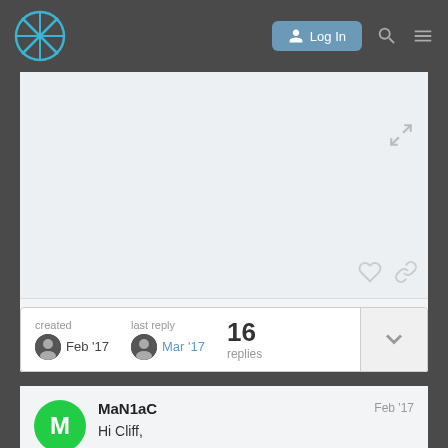Log In
[Figure (screenshot): Forum post image placeholder area with expand icon, like/heart icon, and link/share icon on the right side]
| created | last reply | replies |  |
| --- | --- | --- | --- |
| Feb '17 | Mar '17 | 16 | ▾ |
MaN1aC  Feb '17
Hi Cliff,
1 / 17